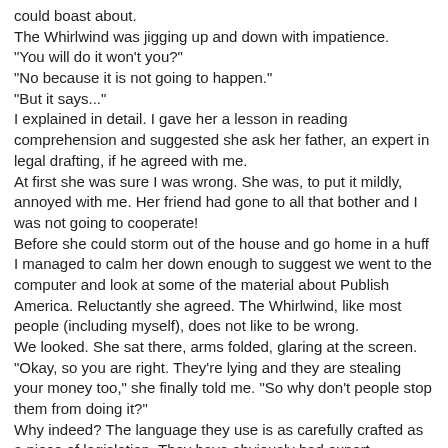could boast about.
The Whirlwind was jigging up and down with impatience.
"You will do it won't you?"
"No because it is not going to happen."
"But it says..."
I explained in detail. I gave her a lesson in reading comprehension and suggested she ask her father, an expert in legal drafting, if he agreed with me.
At first she was sure I was wrong. She was, to put it mildly, annoyed with me. Her friend had gone to all that bother and I was not going to cooperate!
Before she could storm out of the house and go home in a huff I managed to calm her down enough to suggest we went to the computer and look at some of the material about Publish America. Reluctantly she agreed. The Whirlwind, like most people (including myself), does not like to be wrong.
We looked. She sat there, arms folded, glaring at the screen.
"Okay, so you are right. They're lying and they are stealing your money too," she finally told me. "So why don't people stop them from doing it?"
Why indeed? The language they use is as carefully crafted as a piece of legislation. They have obviously had expert